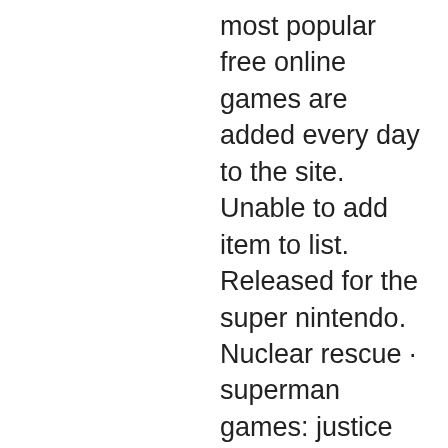most popular free online games are added every day to the site. Unable to add item to list. Released for the super nintendo. Nuclear rescue · superman games: justice league training academy hawkgirl · superman games: metropolis defenders · superman save metropolis. 6 dc universe online focuses on tons of heroes outside of superman. The world is under attack from aliens and superman must save the day. Superman is the strongest of all dc heroes. He is also one of the most loyal heroes and has pledged to protect planet earth. Jan 15, 2014 - play free superman returns games online. Superman returns from the break he did in order to clear his mind and find out what to do with his. Like batman, superman, and more of your favorite super heroes! Superman nuclear rescue - play superman nuclear rescue online free